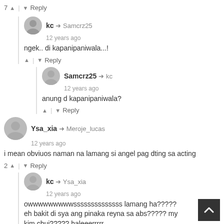7 ^ | v Reply
kc → Samcrz25
12 years ago
ngek.. di kapanipaniwala...!
^ | v Reply
Samcrz25 → kc
12 years ago
anung d kapanipaniwala?
^ | v Reply
Ysa_xia → Meroje_lucas
12 years ago
i mean obviuos naman na lamang si angel pag dting sa acting
2 ^ | v Reply
kc → Ysa_xia
12 years ago
owwwwwwwwwssssssssssssss lamang ha?????
eh bakit di sya ang pinaka reyna sa abs????? my [nat]
kim chui????? haleeerrrrr